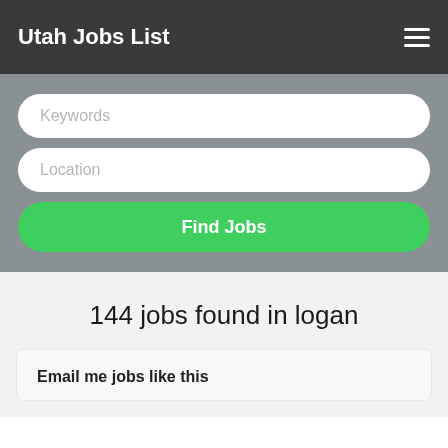Utah Jobs List
[Figure (screenshot): Search bar section with Keywords input, Location input, and Find Jobs green button on a gray background]
144 jobs found in logan
Email me jobs like this